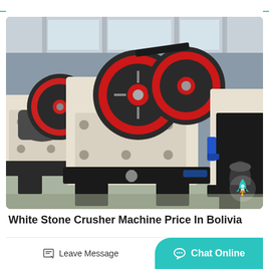[Figure (photo): Industrial jaw crusher machines with large red and black flywheels, white/cream painted heavy steel frames, black motors, photographed in a factory warehouse setting with concrete floor and steel structure roof.]
White Stone Crusher Machine Price In Bolivia
Leave Message
Chat Online